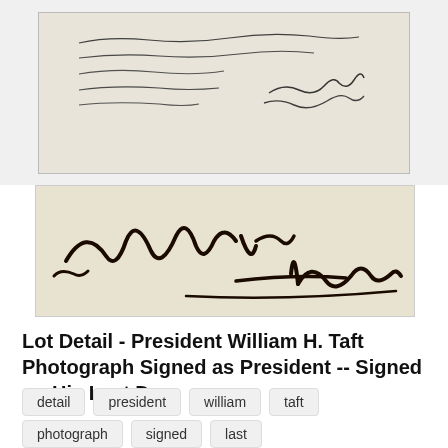[Figure (photo): Close-up of a handwritten letter signed by William H. Taft, dated March 3, 1913, with cursive text and signature visible]
[Figure (photo): Enlarged signature of William H. Taft in dark ink on aged paper background]
Lot Detail - President William H. Taft Photograph Signed as President -- Signed on His Last Day
detail
president
william
taft
photograph
signed
last